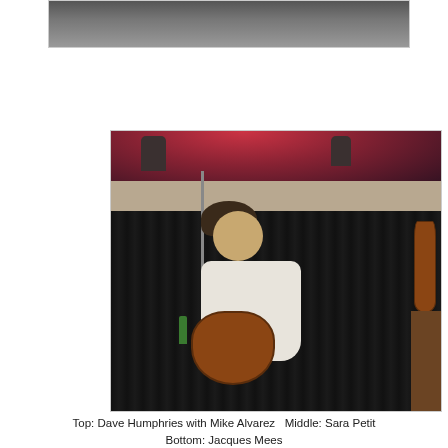[Figure (photo): Top portion of a photo showing people at what appears to be an indoor event, partially cropped]
[Figure (photo): A male musician with curly dark hair and glasses performing on stage, playing an acoustic guitar and singing into a microphone. He is wearing a white shirt and jeans. A stool with a green bottle is nearby. Black curtains are in the background with pink/red stage lighting above. Guitars hang on the wall to the right.]
Top: Dave Humphries with Mike Alvarez   Middle: Sara Petit   Bottom: Jacques Mees